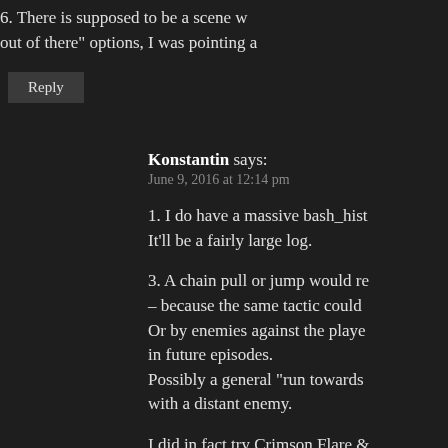6. There is supposed to be a scene w... out of there” options, I was pointing a...
Reply
Konstantin says:
June 9, 2016 at 12:14 pm
1. I do have a massive bash_hist... It’ll be a fairly large log.
3. A chain pull or jump would re... – because the same tactic could... Or by enemies against the playe... in future episodes.
Possibly a general “run towards... with a distant enemy.
I did in fact try Crimson Flare &... are either blinded or not. So... m...